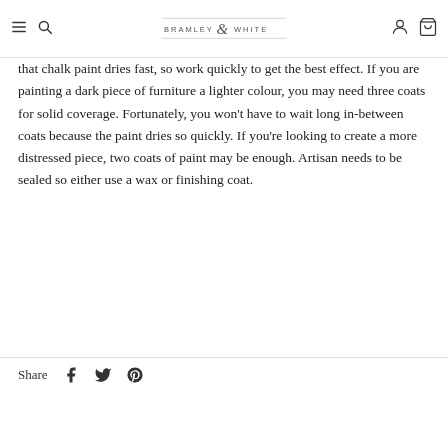BRAMLEY & WHITE [navigation header with hamburger, search, account, cart icons]
that chalk paint dries fast, so work quickly to get the best effect. If you are painting a dark piece of furniture a lighter colour, you may need three coats for solid coverage. Fortunately, you won't have to wait long in-between coats because the paint dries so quickly. If you're looking to create a more distressed piece, two coats of paint may be enough. Artisan needs to be sealed so either use a wax or finishing coat.
Share